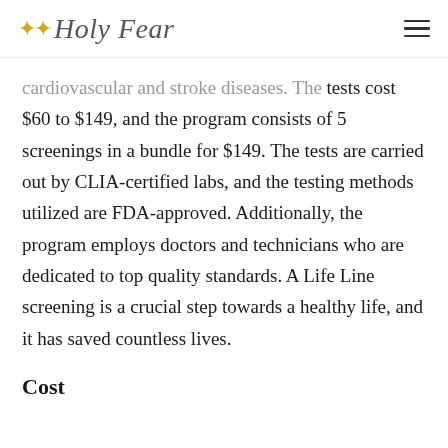Holy Fear
cardiovascular and stroke diseases. The tests cost $60 to $149, and the program consists of 5 screenings in a bundle for $149. The tests are carried out by CLIA-certified labs, and the testing methods utilized are FDA-approved. Additionally, the program employs doctors and technicians who are dedicated to top quality standards. A Life Line screening is a crucial step towards a healthy life, and it has saved countless lives.
Cost